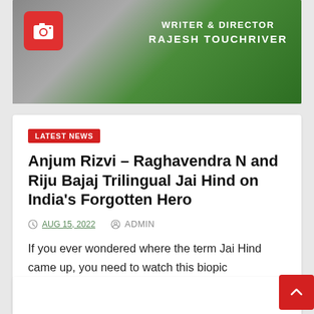[Figure (illustration): Banner image with camera icon on red background, green abstract background, text reading WRITER & DIRECTOR RAJESH TOUCHRIVER]
LATEST NEWS
Anjum Rizvi – Raghavendra N and Riju Bajaj Trilingual Jai Hind on India's Forgotten Hero
AUG 15, 2022   ADMIN
If you ever wondered where the term Jai Hind came up, you need to watch this biopic announced on the…